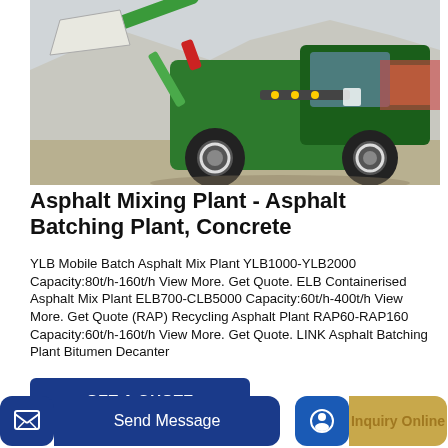[Figure (photo): Green compact wheel loader machine working at a gravel/aggregate site, lifting material with a front bucket attachment, set against a light grey background.]
Asphalt Mixing Plant - Asphalt Batching Plant, Concrete
YLB Mobile Batch Asphalt Mix Plant YLB1000-YLB2000 Capacity:80t/h-160t/h View More. Get Quote. ELB Containerised Asphalt Mix Plant ELB700-CLB5000 Capacity:60t/h-400t/h View More. Get Quote (RAP) Recycling Asphalt Plant RAP60-RAP160 Capacity:60t/h-160t/h View More. Get Quote. LINK Asphalt Batching Plant Bitumen Decanter
GET A QUOTE
Send Message
Inquiry Online